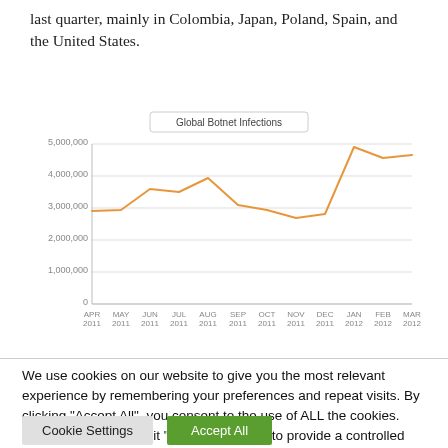last quarter, mainly in Colombia, Japan, Poland, Spain, and the United States.
[Figure (line-chart): Global Botnet Infections]
We use cookies on our website to give you the most relevant experience by remembering your preferences and repeat visits. By clicking "Accept All", you consent to the use of ALL the cookies. However, you may visit "Cookie Settings" to provide a controlled consent.